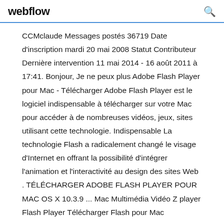webflow
CCMclaude Messages postés 36719 Date d'inscription mardi 20 mai 2008 Statut Contributeur Dernière intervention 11 mai 2014 - 16 août 2011 à 17:41. Bonjour, Je ne peux plus Adobe Flash Player pour Mac - Télécharger Adobe Flash Player est le logiciel indispensable à télécharger sur votre Mac pour accéder à de nombreuses vidéos, jeux, sites utilisant cette technologie. Indispensable La technologie Flash a radicalement changé le visage d'Internet en offrant la possibilité d'intégrer l'animation et l'interactivité au design des sites Web . TÉLÉCHARGER ADOBE FLASH PLAYER POUR MAC OS X 10.3.9 ... Mac Multimédia Vidéo Z player Flash Player Télécharger Flash pour Mac